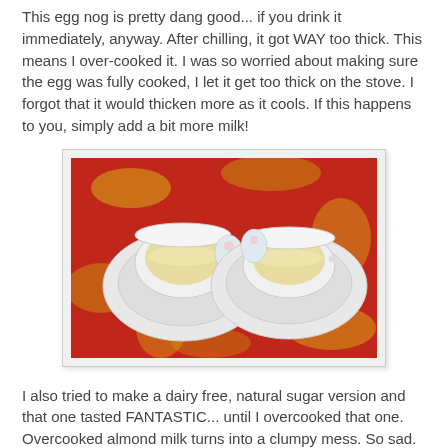This egg nog is pretty dang good... if you drink it immediately, anyway. After chilling, it got WAY too thick. This means I over-cooked it. I was so worried about making sure the egg was fully cooked, I let it get too thick on the stove. I forgot that it would thicken more as it cools. If this happens to you, simply add a bit more milk!
[Figure (photo): Two white china cups filled with eggnog on white saucers, placed on a red and gold patterned tablecloth, viewed from above.]
I also tried to make a dairy free, natural sugar version and that one tasted FANTASTIC... until I overcooked that one. Overcooked almond milk turns into a clumpy mess. So sad.
Homemade Egg Nog